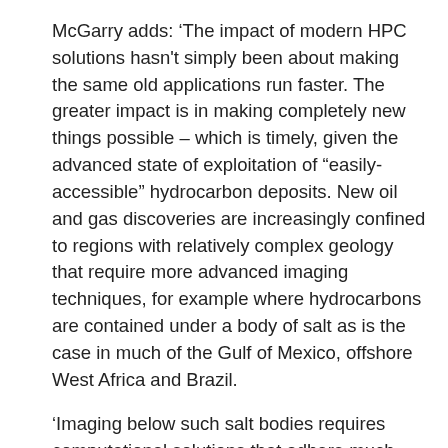McGarry adds: ‘The impact of modern HPC solutions hasn't simply been about making the same old applications run faster. The greater impact is in making completely new things possible – which is timely, given the advanced state of exploitation of “easily-accessible” hydrocarbon deposits. New oil and gas discoveries are increasingly confined to regions with relatively complex geology that require more advanced imaging techniques, for example where hydrocarbons are contained under a body of salt as is the case in much of the Gulf of Mexico, offshore West Africa and Brazil.
‘Imaging below such salt bodies requires computational solutions that adhere much more to the fundamental physics of seismic wave propagation than the older techniques in which gross over-simplifications were required to make imaging possible at all on the computational infrastructure of the day. A good example of a current state-of-the-art imaging method is reverse time migration (RTM). To image a single seismic shot (of which there may be tens of thousands within a